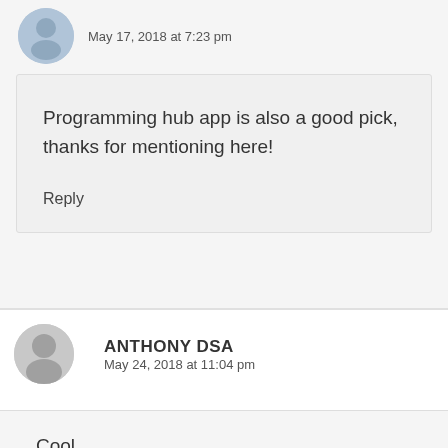May 17, 2018 at 7:23 pm
Programming hub app is also a good pick, thanks for mentioning here!
Reply
ANTHONY DSA
May 24, 2018 at 11:04 pm
Cool